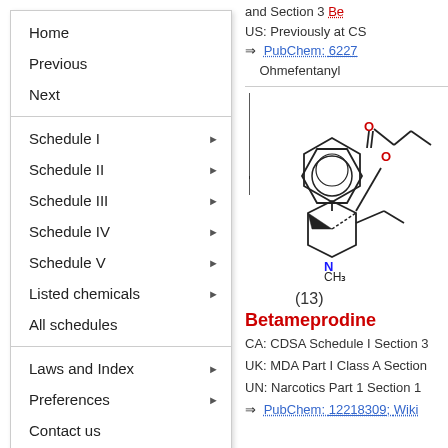Home
Previous
Next
Schedule I
Schedule II
Schedule III
Schedule IV
Schedule V
Listed chemicals
All schedules
Laws and Index
Preferences
Contact us
and Section 3 Be...
US: Previously at CS...
⇒ PubChem: 6227... Ohmefentanyl
[Figure (illustration): Chemical structure diagram of Betameprodine showing a piperidine ring with phenyl group, N-methyl substituent, ethyl group, and propionyloxy group. Oxygen atoms shown in red, nitrogen in blue.]
(13)
Betameprodine
CA: CDSA Schedule I Section 3
UK: MDA Part I Class A Section...
UN: Narcotics Part 1 Section 1
⇒ PubChem: 12218309; Wiki...